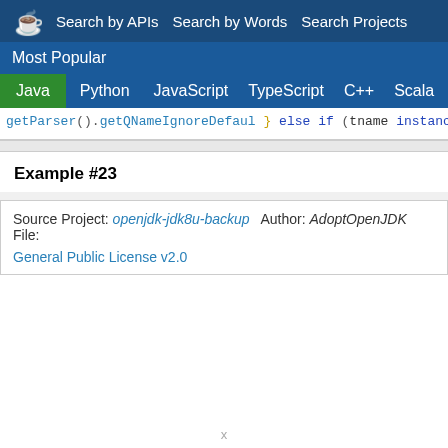Search by APIs  Search by Words  Search Projects  Most Popular
Java  Python  JavaScript  TypeScript  C++  Scala
[Figure (screenshot): Code snippet showing Java syntax-highlighted code with getParser().getQNameIgnoreDefault..., else if (tname instanceof StringType ==, _name = new CastExpr(_name, Type.Str..., }, }, return _type = Type.String; }]
Example #23
Source Project: openjdk-jdk8u-backup  Author: AdoptOpenJDK  File:
General Public License v2.0